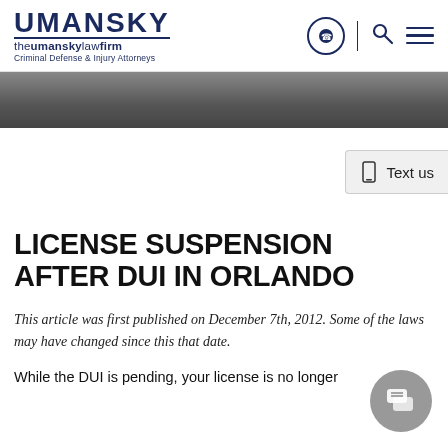UMANSKY theumanskylawfirm Criminal Defense & Injury Attorneys
[Figure (photo): Partial photo strip showing people in dark clothing, cropped at top]
Text us
LICENSE SUSPENSION AFTER DUI IN ORLANDO
This article was first published on December 7th, 2012. Some of the laws may have changed since this that date.
While the DUI is pending, your license is no longer